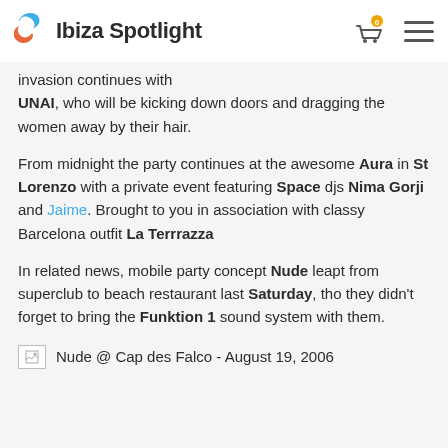Ibiza Spotlight
invasion continues with UNAI, who will be kicking down doors and dragging the women away by their hair.
From midnight the party continues at the awesome Aura in St Lorenzo with a private event featuring Space djs Nima Gorji and Jaime. Brought to you in association with classy Barcelona outfit La Terrrazza
In related news, mobile party concept Nude leapt from superclub to beach restaurant last Saturday, tho they didn't forget to bring the Funktion 1 sound system with them.
Nude @ Cap des Falco - August 19, 2006